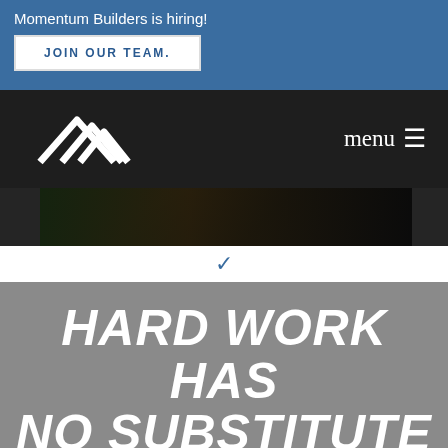Momentum Builders is hiring!
JOIN OUR TEAM.
[Figure (logo): Momentum Builders logo - white mountain peaks outline on dark navbar]
menu ☰
[Figure (photo): Dark construction/work scene photo strip]
HARD WORK HAS NO SUBSTITUTE
Report a leak